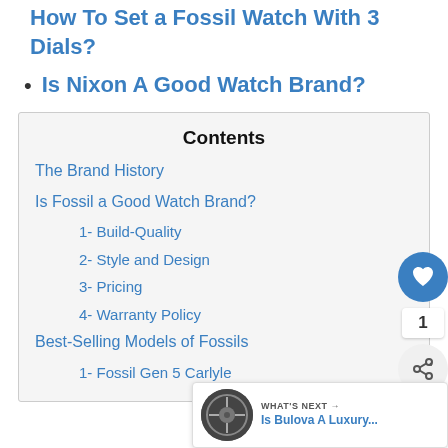How To Set a Fossil Watch With 3 Dials?
Is Nixon A Good Watch Brand?
Contents
The Brand History
Is Fossil a Good Watch Brand?
1- Build-Quality
2- Style and Design
3- Pricing
4- Warranty Policy
Best-Selling Models of Fossils
1- Fossil Gen 5 Carlyle